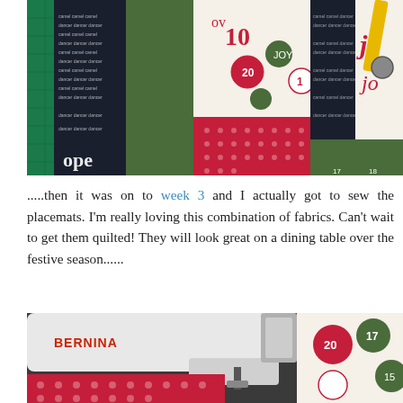[Figure (photo): Close-up photo of Christmas-themed quilt placemats being assembled on a green cutting mat, showing red polka-dot, green solid, and holiday print fabrics with 'hope' text visible, along with a rotary cutter.]
.....then it was on to week 3 and I actually got to sew the placemats. I'm really loving this combination of fabrics. Can't wait to get them quilted! They will look great on a dining table over the festive season......
[Figure (photo): Photo of a BERNINA sewing machine sewing Christmas-themed quilt fabric with red polka-dot and holiday print fabrics featuring numbered circles.]